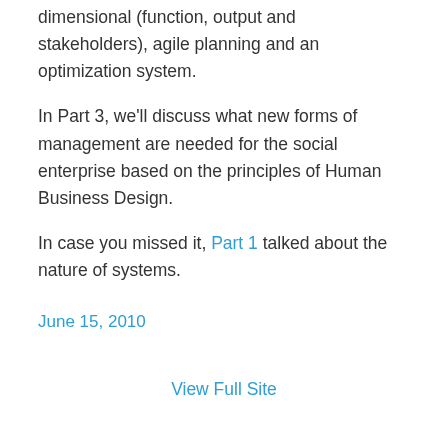dimensional (function, output and stakeholders), agile planning and an optimization system.
In Part 3, we'll discuss what new forms of management are needed for the social enterprise based on the principles of Human Business Design.
In case you missed it, Part 1 talked about the nature of systems.
June 15, 2010
View Full Site